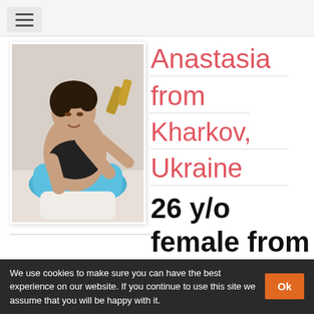[Figure (photo): Navigation bar with hamburger menu icon]
[Figure (photo): Profile photo of a young woman sitting in a blue chair, wearing a black bikini top, looking at camera]
Anastasia from Kharkov, Ukraine
26 y/o
female from
We use cookies to make sure you can have the best experience on our website. If you continue to use this site we assume that you will be happy with it.